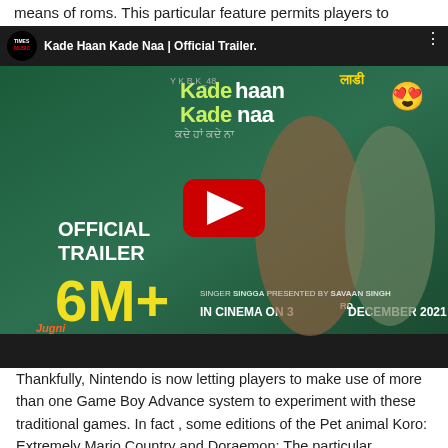means of roms. This particular feature permits players to create
[Figure (screenshot): YouTube video thumbnail for 'Kade Haan Kade Naa | Official Trailer' showing two actors, large yellow 6M+ text, 'IN CINEMA ON 3RD DECEMBER 2021' text, Times Music logo, and a red YouTube play button overlay.]
Thankfully, Nintendo is now letting players to make use of more than one Game Boy Advance system to experiment with these traditional games. In fact , some editions of the Pet animal Koro: Extremely Mario Country and Doraemon: The particular Explorer's Apprentice is now appropriate for the Game Boy Progress system through the use of Game Child Advanced Emulator software. For those who have a Game Son Advance system, you should be able